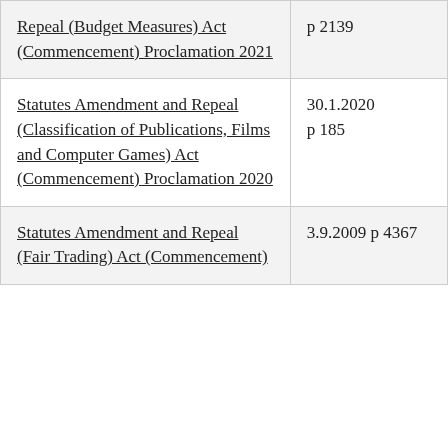| Repeal (Budget Measures) Act (Commencement) Proclamation 2021 | p 2139 |
| Statutes Amendment and Repeal (Classification of Publications, Films and Computer Games) Act (Commencement) Proclamation 2020 | 30.1.2020
p 185 |
| Statutes Amendment and Repeal (Fair Trading) Act (Commencement) | 3.9.2009 p 4367 |